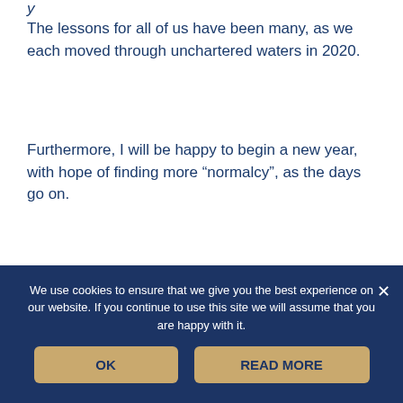The lessons for all of us have been many, as we each moved through unchartered waters in 2020.
Furthermore, I will be happy to begin a new year, with hope of finding more “normalcy”, as the days go on.
We use cookies to ensure that we give you the best experience on our website. If you continue to use this site we will assume that you are happy with it.